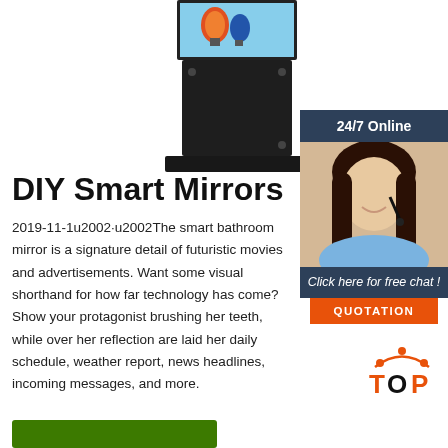[Figure (photo): Black kiosk/smart mirror device with screen showing colorful image (hot air balloon scene), positioned in upper center of page]
[Figure (photo): Customer service sidebar widget: '24/7 Online' header in dark blue, photo of smiling woman with headset, 'Click here for free chat!' text in italic, orange QUOTATION button]
DIY Smart Mirrors
2019-11-1u2002·u2002The smart bathroom mirror is a signature detail of futuristic movies and advertisements. Want some visual shorthand for how far technology has come? Show your protagonist brushing her teeth, while over her reflection are laid her daily schedule, weather report, news headlines, incoming messages, and more.
[Figure (logo): TOP logo with orange dot/arc design above the word TOP in orange]
[Figure (other): Green rectangular button at bottom left]